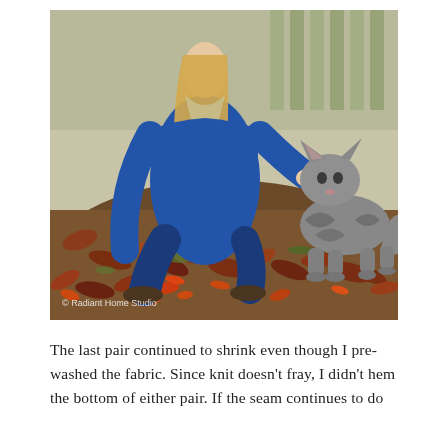[Figure (photo): A woman crouching outdoors in a blue jacket, petting a grey tabby cat. The ground is covered in fallen autumn leaves in shades of brown, orange, and red. A wooden fence is visible in the background. A watermark reads '© Radiant Home Studio' in the lower left corner of the photo.]
The last pair continued to shrink even though I pre-washed the fabric. Since knit doesn't fray, I didn't hem the bottom of either pair. If the seam continues to do